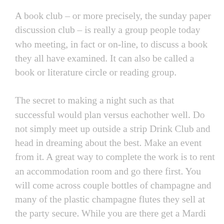A book club – or more precisely, the sunday paper discussion club – is really a group people today who meeting, in fact or on-line, to discuss a book they all have examined. It can also be called a book or literature circle or reading group.
The secret to making a night such as that successful would plan versus eachother well. Do not simply meet up outside a strip Drink Club and head in dreaming about the best. Make an event from it. A great way to complete the work is to rent an accommodation room and go there first. You will come across couple bottles of champagne and many of the plastic champagne flutes they sell at the party secure. While you are there get a Mardi Gras mask